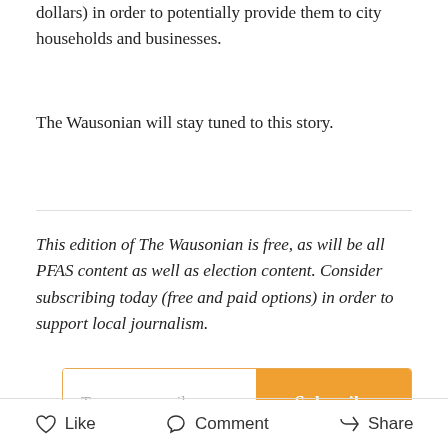dollars) in order to potentially provide them to city households and businesses.
The Wausonian will stay tuned to this story.
This edition of The Wausonian is free, as will be all PFAS content as well as election content. Consider subscribing today (free and paid options) in order to support local journalism.
Type your email... Subscribe
Like   Comment   Share